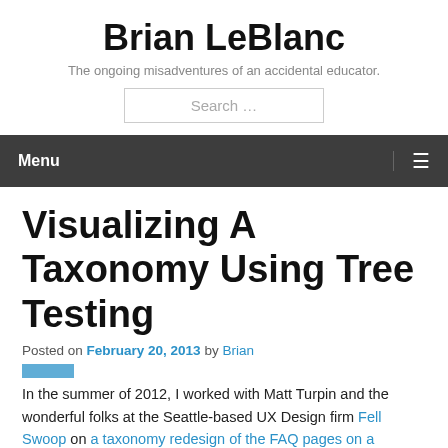Brian LeBlanc
The ongoing misadventures of an accidental educator.
Visualizing A Taxonomy Using Tree Testing
Posted on February 20, 2013 by Brian
In the summer of 2012, I worked with Matt Turpin and the wonderful folks at the Seattle-based UX Design firm Fell Swoop on a taxonomy redesign of the FAQ pages on a